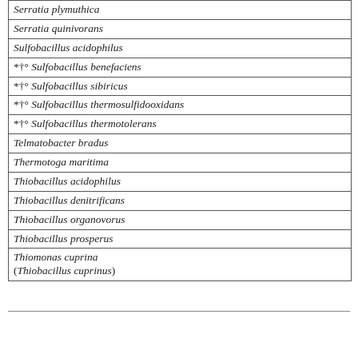| Serratia plymuthica |
| Serratia quinivorans |
| Sulfobacillus acidophilus |
| *†° Sulfobacillus benefaciens |
| *†° Sulfobacillus sibiricus |
| *†° Sulfobacillus thermosulfidooxidans |
| *†° Sulfobacillus thermotolerans |
| Telmatobacter bradus |
| Thermotoga maritima |
| Thiobacillus acidophilus |
| Thiobacillus denitrificans |
| Thiobacillus organovorus |
| Thiobacillus prosperus |
| Thiomonas cuprina
(Thiobacillus cuprinus) |